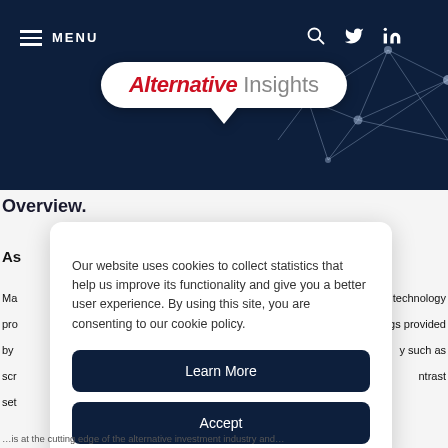[Figure (screenshot): Website header with dark navy background showing hamburger menu, MENU text, social icons (search, Twitter, LinkedIn), network graphic lines, and Alternative Insights logo in a white speech bubble]
Overview.
As
Our website uses cookies to collect statistics that help us improve its functionality and give you a better user experience. By using this site, you are consenting to our cookie policy.
Learn More
Accept